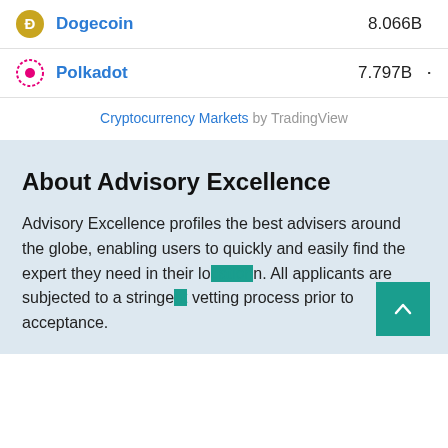| Coin | Market Cap |
| --- | --- |
| Dogecoin | 8.066B |
| Polkadot | 7.797B |
Cryptocurrency Markets by TradingView
About Advisory Excellence
Advisory Excellence profiles the best advisers around the globe, enabling users to quickly and easily find the expert they need in their location. All applicants are subjected to a stringent vetting process prior to acceptance.